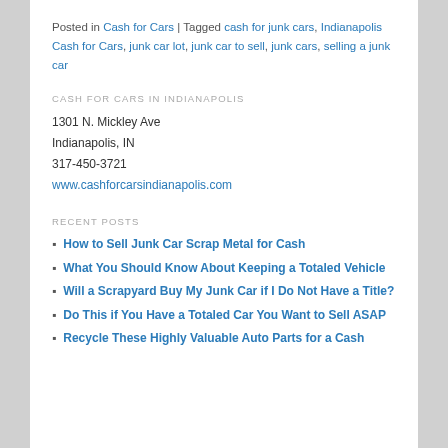Posted in Cash for Cars | Tagged cash for junk cars, Indianapolis Cash for Cars, junk car lot, junk car to sell, junk cars, selling a junk car
CASH FOR CARS IN INDIANAPOLIS
1301 N. Mickley Ave
Indianapolis, IN
317-450-3721
www.cashforcarsindianapolis.com
RECENT POSTS
How to Sell Junk Car Scrap Metal for Cash
What You Should Know About Keeping a Totaled Vehicle
Will a Scrapyard Buy My Junk Car if I Do Not Have a Title?
Do This if You Have a Totaled Car You Want to Sell ASAP
Recycle These Highly Valuable Auto Parts for a Cash